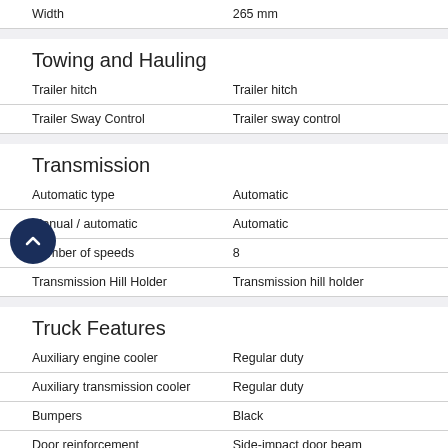| Feature | Value |
| --- | --- |
| Width | 265 mm |
Towing and Hauling
| Feature | Value |
| --- | --- |
| Trailer hitch | Trailer hitch |
| Trailer Sway Control | Trailer sway control |
Transmission
| Feature | Value |
| --- | --- |
| Automatic type | Automatic |
| Manual / automatic | Automatic |
| Number of speeds | 8 |
| Transmission Hill Holder | Transmission hill holder |
Truck Features
| Feature | Value |
| --- | --- |
| Auxiliary engine cooler | Regular duty |
| Auxiliary transmission cooler | Regular duty |
| Bumpers | Black |
| Door reinforcement | Side-impact door beam |
| Engine hour meter | Engine hour meter |
| Pickup Bed Type | Regular |
| Vinyl floor covering | Vinyl floor covering |